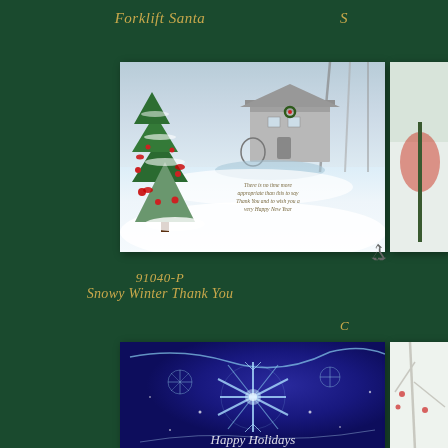Forklift Santa
[Figure (photo): Christmas card showing snowy winter scene with decorated Christmas tree in foreground, old mill building in background, cursive greeting text inside]
91040-P
Snowy Winter Thank You
[Figure (photo): Christmas card with dark blue background showing glowing blue snowflake ornament design with Happy Holidays text in script at bottom]
[Figure (photo): Partial view of another Christmas card on right side showing white/winter scene]
S
C